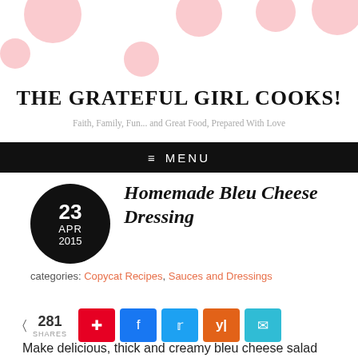[Figure (illustration): Blog header with pink polka dot decorative circles on white background]
THE GRATEFUL GIRL COOKS!
Faith, Family, Fun... and Great Food, Prepared With Love
≡  MENU
[Figure (illustration): Black circular date badge showing 23 APR 2015]
Homemade Bleu Cheese Dressing
categories: Copycat Recipes, Sauces and Dressings
[Figure (infographic): Social share bar with 281 shares, Pinterest, Facebook, Twitter, Yummly, and Email buttons]
Make delicious, thick and creamy bleu cheese salad